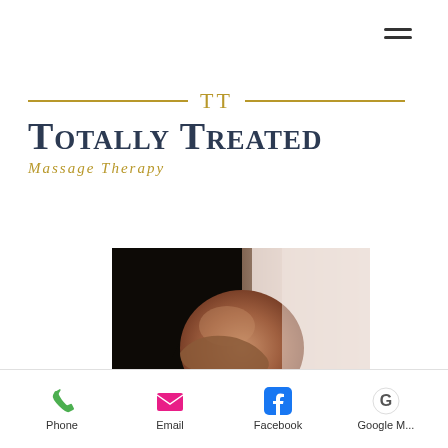[Figure (other): Hamburger menu icon (three horizontal lines) in top right corner]
[Figure (logo): Totally Treated Massage Therapy logo with gold TT monogram between horizontal lines, dark navy large text, and gold italic subtitle]
[Figure (photo): Pregnant woman in black dress holding her baby bump, side profile, soft light background]
[Figure (other): Mobile app bottom navigation bar with Phone (green phone icon), Email (pink envelope icon), Facebook (blue F icon), Google M... (grey G icon) options]